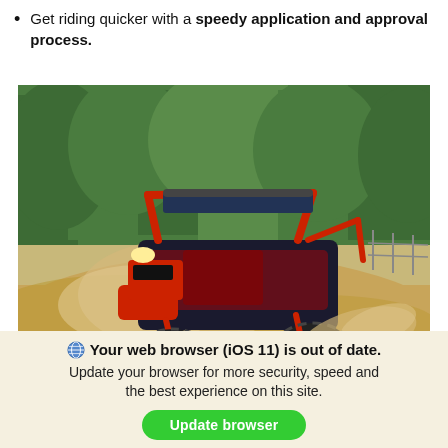Get riding quicker with a speedy application and approval process.
[Figure (photo): A red and black off-road UTV/side-by-side vehicle kicking up sand on a dune, with green trees in the background.]
Your web browser (iOS 11) is out of date. Update your browser for more security, speed and the best experience on this site. [Update browser button]